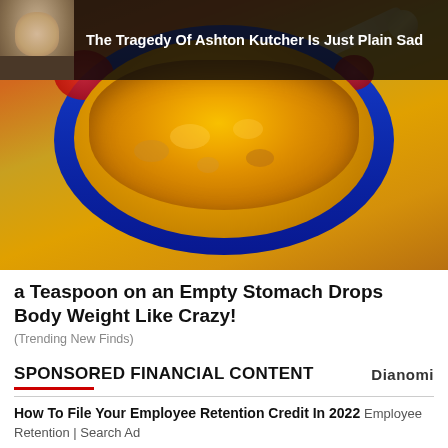[Figure (photo): Advertisement showing a blue bowl filled with golden turmeric powder with a spoon, with a celebrity banner overlay at the top showing a man and text about Ashton Kutcher]
The Tragedy Of Ashton Kutcher Is Just Plain Sad
a Teaspoon on an Empty Stomach Drops Body Weight Like Crazy!
(Trending New Finds)
SPONSORED FINANCIAL CONTENT
Dianomi
How To File Your Employee Retention Credit In 2022 Employee Retention | Search Ad